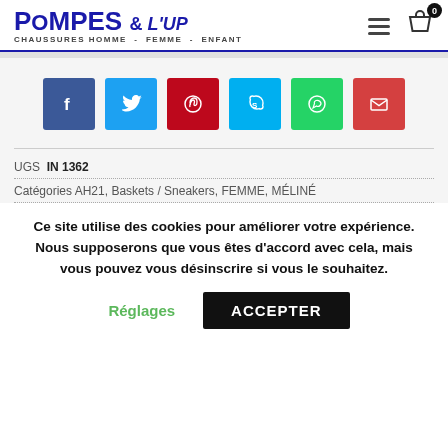POMPES & L'UP — CHAUSSURES HOMME - FEMME - ENFANT
[Figure (other): Social sharing buttons: Facebook (blue), Twitter (light blue), Pinterest (dark red), Skype (cyan), WhatsApp (green), Email (red)]
UGS IN 1362
Catégories AH21, Baskets / Sneakers, FEMME, MÉLINÉ
Ce site utilise des cookies pour améliorer votre expérience. Nous supposerons que vous êtes d'accord avec cela, mais vous pouvez vous désinscrire si vous le souhaitez.
Réglages  ACCEPTER